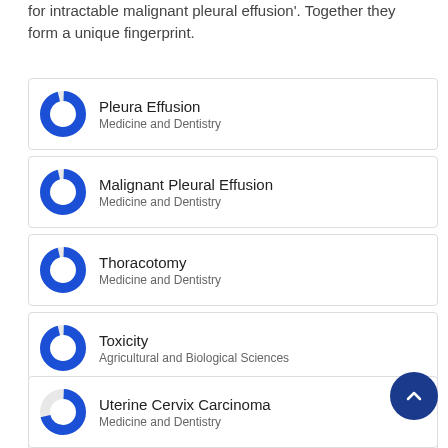for intractable malignant pleural effusion'. Together they form a unique fingerprint.
Pleura Effusion — Medicine and Dentistry
Malignant Pleural Effusion — Medicine and Dentistry
Thoracotomy — Medicine and Dentistry
Toxicity — Agricultural and Biological Sciences
Talc — Agricultural and Biological Sciences
Uterine Cervix Carcinoma — Medicine and Dentistry